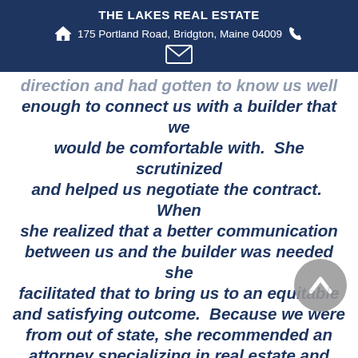THE LAKES REAL ESTATE
175 Portland Road, Bridgton, Maine 04009
direction and had gotten to know us well enough to connect us with a builder that we would be comfortable with. She scrutinized and helped us negotiate the contract. When she realized that a better communication between us and the builder was needed she facilitated that to bring us to an equitable and satisfying outcome. Because we were from out of state, she recommended an attorney specializing in real estate and assisted in our communications with him. We are now happily anticipating the completion of our dream home. We know